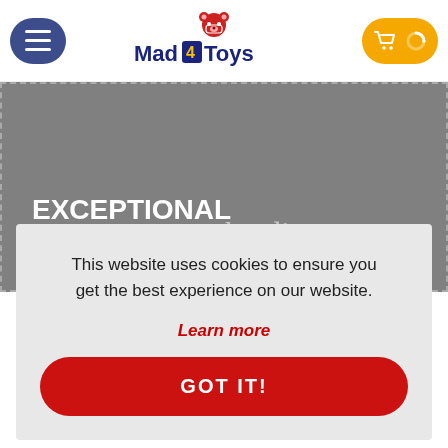[Figure (logo): Mad 4 Toys logo with red bear mascot, dark blue text reading MAD4TOYS]
EXCEPTIONAL CUSTOMER
loading
This website uses cookies to ensure you get the best experience on our website.
Learn more
GOT IT!
01793 876501